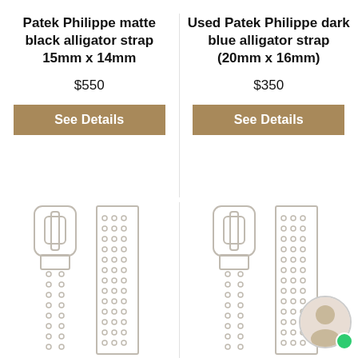Patek Philippe matte black alligator strap 15mm x 14mm
$550
See Details
Used Patek Philippe dark blue alligator strap (20mm x 16mm)
$350
See Details
[Figure (illustration): Watch strap illustrations showing buckle and strap holes, two straps on left side]
[Figure (illustration): Watch strap illustrations showing buckle and strap holes, two straps on right side]